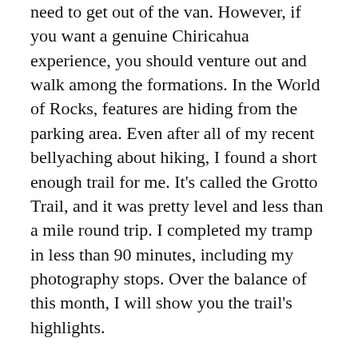need to get out of the van. However, if you want a genuine Chiricahua experience, you should venture out and walk among the formations. In the World of Rocks, features are hiding from the parking area. Even after all of my recent bellyaching about hiking, I found a short enough trail for me. It’s called the Grotto Trail, and it was pretty level and less than a mile round trip. I completed my tramp in less than 90 minutes, including my photography stops. Over the balance of this month, I will show you the trail’s highlights.
Do you remember several months ago when I wrote how the pixies build trail markers out of stacked rocks—called cairns? Well, there are no cairns in this monument. Using rock stacks to